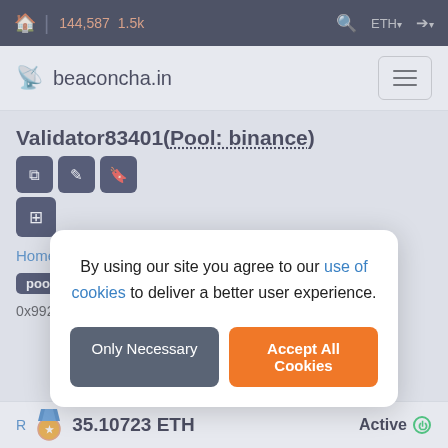🏠 | 144,587  1.5k   🔍  ETH ▾  ➔ ▾
beaconcha.in
Validator83401(Pool: binance)
Home / Validators / Validator details
pool  Binance
0x992444176253ec0e067d8612721d81aa59da1c...
By using our site you agree to our use of cookies to deliver a better user experience.
Only Necessary   Accept All Cookies
35.10723 ETH   Active